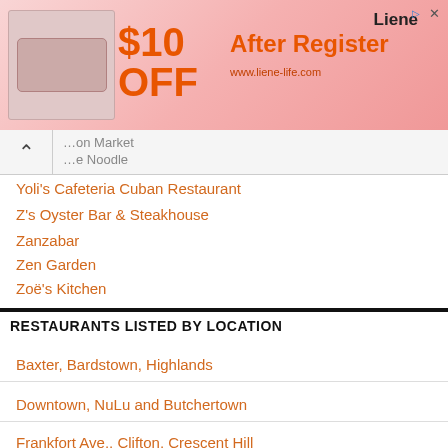[Figure (illustration): Advertisement banner: Liene printer product with $10 OFF After Register offer at liene-life.com]
…on Market
…e Noodle
Yoli's Cafeteria Cuban Restaurant
Z's Oyster Bar & Steakhouse
Zanzabar
Zen Garden
Zoë's Kitchen
RESTAURANTS LISTED BY LOCATION
Baxter, Bardstown, Highlands
Downtown, NuLu and Butchertown
Frankfort Ave., Clifton, Crescent Hill